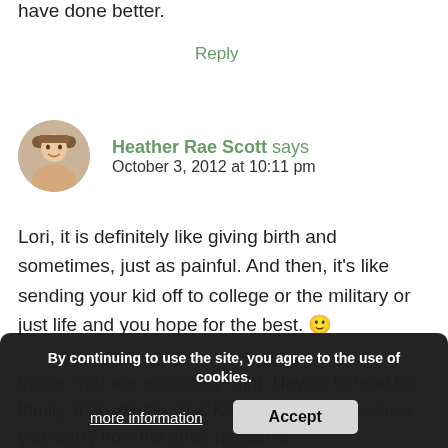have done better.
Reply
Heather Rae Scott says
October 3, 2012 at 10:11 pm
Lori, it is definitely like giving birth and sometimes, just as painful. And then, it’s like sending your kid off to college or the military or just life and you hope for the best. 😊
Lynne, you are absolutely right. Having to read for family. It absolutely SUCKS the first time because you worry how the other person is
By continuing to use the site, you agree to the use of cookies.
more information    Accept